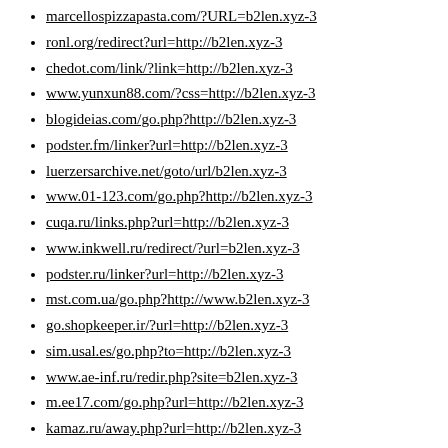marcellospizzapasta.com/?URL=b2len.xyz-3
ronl.org/redirect?url=http://b2len.xyz-3
chedot.com/link/?link=http://b2len.xyz-3
www.yunxun88.com/?css=http://b2len.xyz-3
blogideias.com/go.php?http://b2len.xyz-3
podster.fm/linker?url=http://b2len.xyz-3
luerzersarchive.net/goto/url/b2len.xyz-3
www.01-123.com/go.php?http://b2len.xyz-3
cuqa.ru/links.php?url=http://b2len.xyz-3
www.inkwell.ru/redirect/?url=b2len.xyz-3
podster.ru/linker?url=http://b2len.xyz-3
mst.com.ua/go.php?http://www.b2len.xyz-3
go.shopkeeper.ir/?url=http://b2len.xyz-3
sim.usal.es/go.php?to=http://b2len.xyz-3
www.ae-inf.ru/redir.php?site=b2len.xyz-3
m.ee17.com/go.php?url=http://b2len.xyz-3
kamaz.ru/away.php?url=http://b2len.xyz-3
yaguo.ru/links.php?go=http://b2len.xyz-3
holidays.fn.ua/go_to.php?uri=b2len.xyz-3